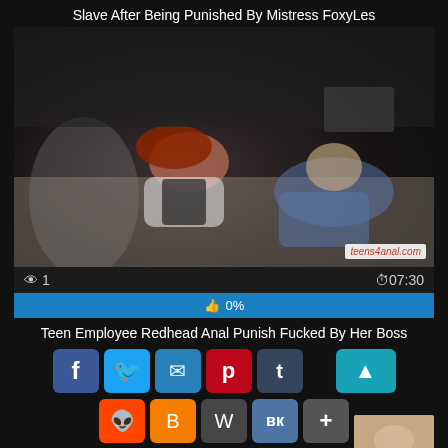Slave After Being Punished By Mistress FoxyLes
[Figure (screenshot): Video thumbnail showing two people in an office scene on a desk. Watermark reads teens4anal.com in bottom right corner.]
1   07:30
0%
Teen Employee Redhead Anal Punish Fucked By Her Boss
[Figure (infographic): Social share buttons row 1: Facebook, Twitter, Email, Pinterest, Tumblr, and scroll-up button]
[Figure (infographic): Social share buttons row 2: Reddit, Blogger, WordPress, VK, More]